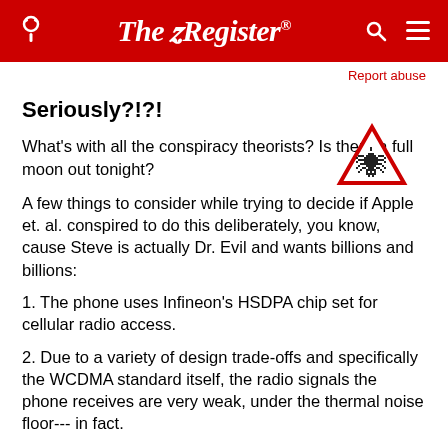The Register®
Report abuse
Seriously?!?!
[Figure (illustration): Red warning triangle with a spider/bug icon inside]
What's with all the conspiracy theorists? Is there a full moon out tonight?
A few things to consider while trying to decide if Apple et. al. conspired to do this deliberately, you know, cause Steve is actually Dr. Evil and wants billions and billions:
1. The phone uses Infineon's HSDPA chip set for cellular radio access.
2. Due to a variety of design trade-offs and specifically the WCDMA standard itself, the radio signals the phone receives are very weak, under the thermal noise floor--- in fact.
3. A few decibels lower than standard, at this scale, could be something as simple as one of the assembly